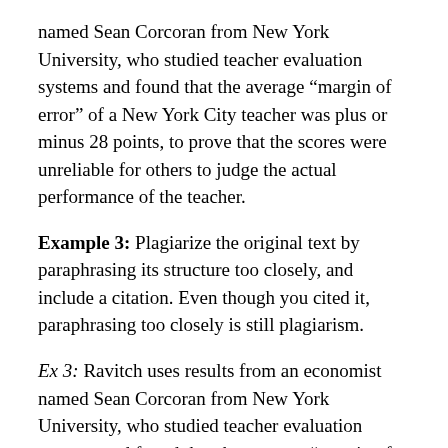named Sean Corcoran from New York University, who studied teacher evaluation systems and found that the average “margin of error” of a New York City teacher was plus or minus 28 points, to prove that the scores were unreliable for others to judge the actual performance of the teacher.
Example 3: Plagiarize the original text by paraphrasing its structure too closely, and include a citation. Even though you cited it, paraphrasing too closely is still plagiarism.
Ex 3: Ravitch uses results from an economist named Sean Corcoran from New York University, who studied teacher evaluation systems and found that the average “margin of error” of a New York City teacher was plus or minus 28 points, to prove that the scores were unreliable for others to judge the actual performance of the teacher.